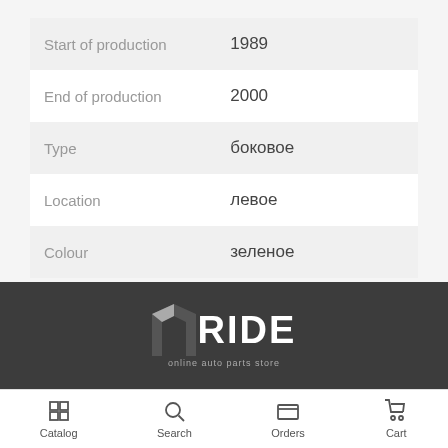| Property | Value |
| --- | --- |
| Start of production | 1989 |
| End of production | 2000 |
| Type | боковое |
| Location | левое |
| Colour | зеленое |
[Figure (logo): MRIDE online auto parts store logo on dark background]
Catalog | Search | Orders | Cart